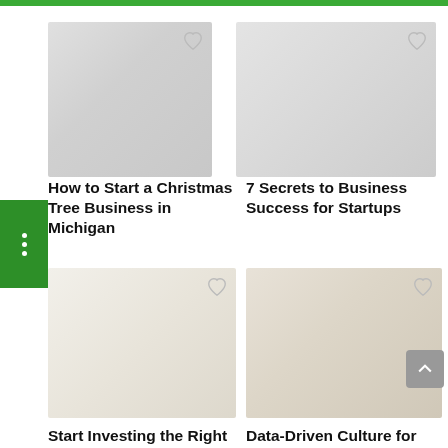[Figure (screenshot): Website UI showing a 2-column grid of article cards with thumbnail images and titles on a white background with a green top bar and green sidebar menu button]
How to Start a Christmas Tree Business in Michigan
7 Secrets to Business Success for Startups
Start Investing the Right Way With These Useful
Data-Driven Culture for Businesses: The Whys